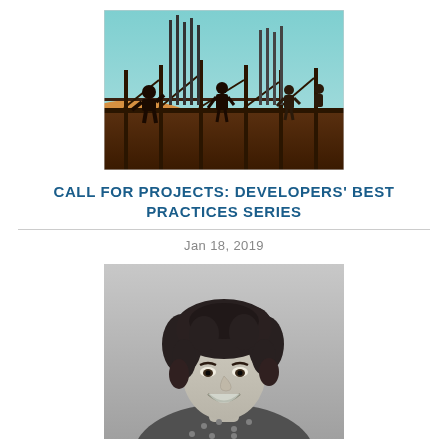[Figure (photo): Construction site photo showing silhouettes of workers on scaffolding against a teal/orange sunset sky, with vertical rebar rods visible]
CALL FOR PROJECTS: DEVELOPERS' BEST PRACTICES SERIES
Jan 18, 2019
[Figure (photo): Black and white portrait photo of a smiling young woman with curly hair wearing a patterned shirt]